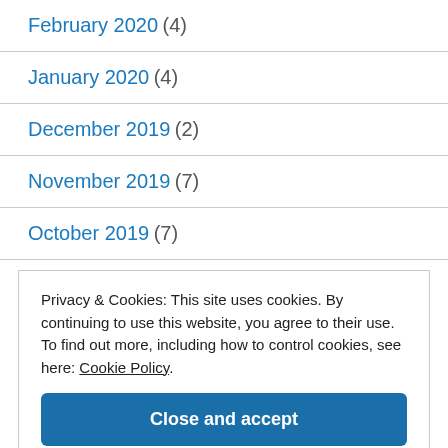February 2020 (4)
January 2020 (4)
December 2019 (2)
November 2019 (7)
October 2019 (7)
Privacy & Cookies: This site uses cookies. By continuing to use this website, you agree to their use.
To find out more, including how to control cookies, see here: Cookie Policy
Close and accept